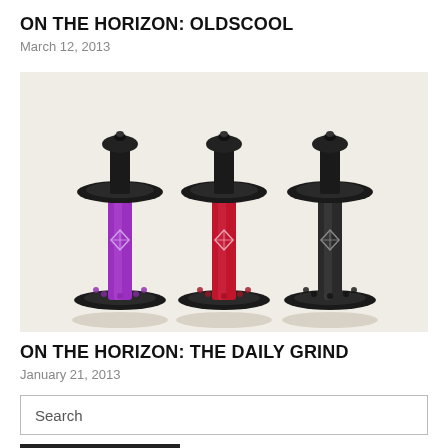ON THE HORIZON: OLDSCOOL
March 12, 2013
[Figure (photo): Three bicycle hub components side by side: purple (left), red (center), and black (right), each with a diamond-shaped logo, on a cream/light background.]
ON THE HORIZON: THE DAILY GRIND
January 21, 2013
Search